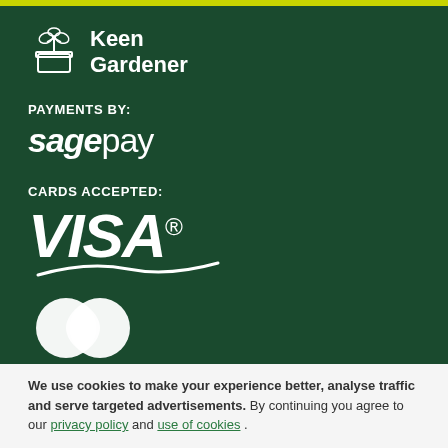[Figure (logo): Keen Gardener logo with plant icon and text]
PAYMENTS BY:
[Figure (logo): SagePay payment logo in white text]
CARDS ACCEPTED:
[Figure (logo): VISA card logo in white italic text with swoosh]
[Figure (logo): Mastercard logo two overlapping circles in white]
We use cookies to make your experience better, analyse traffic and serve targeted advertisements. By continuing you agree to our privacy policy and use of cookies.
Accept and close